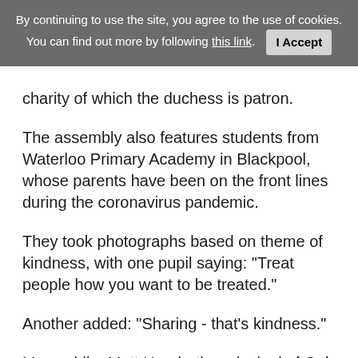By continuing to use the site, you agree to the use of cookies. You can find out more by following this link.  I Accept
charity of which the duchess is patron.
The assembly also features students from Waterloo Primary Academy in Blackpool, whose parents have been on the front lines during the coronavirus pandemic.
They took photographs based on theme of kindness, with one pupil saying: "Treat people how you want to be treated."
Another added: "Sharing - that's kindness."
Meanwhile, Matt Hood - the principal of Oak National Academy - thanked the duchess - who has Prince George, six, Princess Charlotte, five, and two-year-old Prince Louis with Prince William - for joining the